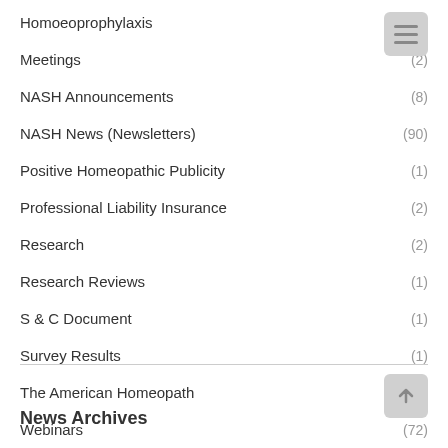Homoeoprophylaxis (1)
Meetings (2)
NASH Announcements (8)
NASH News (Newsletters) (90)
Positive Homeopathic Publicity (1)
Professional Liability Insurance (2)
Research (2)
Research Reviews (1)
S & C Document (1)
Survey Results (1)
The American Homeopath (1)
Webinars (72)
News Archives